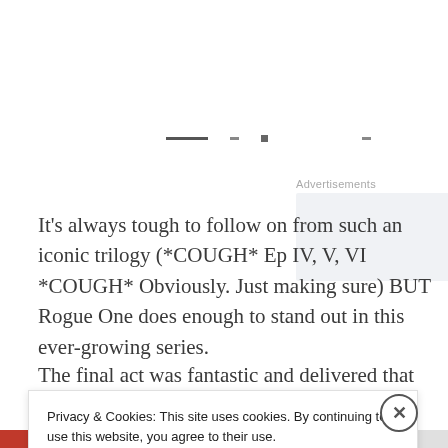[Figure (other): Advertisement placeholder box with light gray background]
It’s always tough to follow on from such an iconic trilogy (*COUGH* Ep IV, V, VI *COUGH* Obviously. Just making sure) BUT Rogue One does enough to stand out in this ever-growing series.
The final act was fantastic and delivered that emotional
Privacy & Cookies: This site uses cookies. By continuing to use this website, you agree to their use.
To find out more, including how to control cookies, see here: Cookie Policy
Close and accept